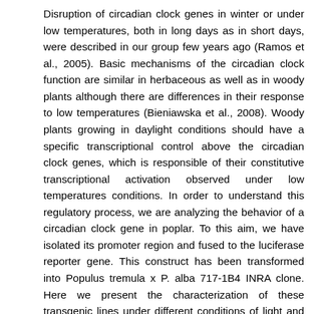Disruption of circadian clock genes in winter or under low temperatures, both in long days as in short days, were described in our group few years ago (Ramos et al., 2005). Basic mechanisms of the circadian clock function are similar in herbaceous as well as in woody plants although there are differences in their response to low temperatures (Bieniawska et al., 2008). Woody plants growing in daylight conditions should have a specific transcriptional control above the circadian clock genes, which is responsible of their constitutive transcriptional activation observed under low temperatures conditions. In order to understand this regulatory process, we are analyzing the behavior of a circadian clock gene in poplar. To this aim, we have isolated its promoter region and fused to the luciferase reporter gene. This construct has been transformed into Populus tremula x P. alba 717-1B4 INRA clone. Here we present the characterization of these transgenic lines under different conditions of light and temperature.